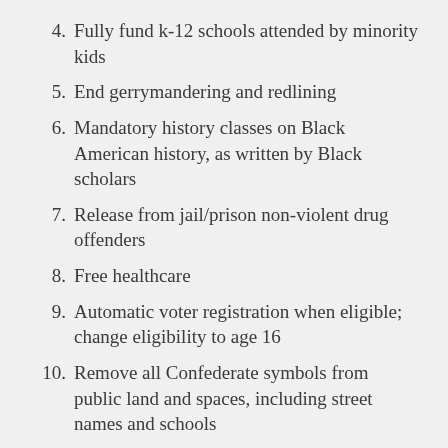4. Fully fund k-12 schools attended by minority kids
5. End gerrymandering and redlining
6. Mandatory history classes on Black American history, as written by Black scholars
7. Release from jail/prison non-violent drug offenders
8. Free healthcare
9. Automatic voter registration when eligible; change eligibility to age 16
10. Remove all Confederate symbols from public land and spaces, including street names and schools